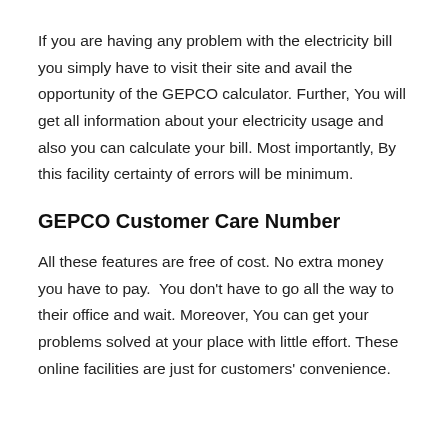If you are having any problem with the electricity bill you simply have to visit their site and avail the opportunity of the GEPCO calculator. Further, You will get all information about your electricity usage and also you can calculate your bill. Most importantly, By this facility certainty of errors will be minimum.
GEPCO Customer Care Number
All these features are free of cost. No extra money you have to pay.  You don't have to go all the way to their office and wait. Moreover, You can get your problems solved at your place with little effort. These online facilities are just for customers' convenience.